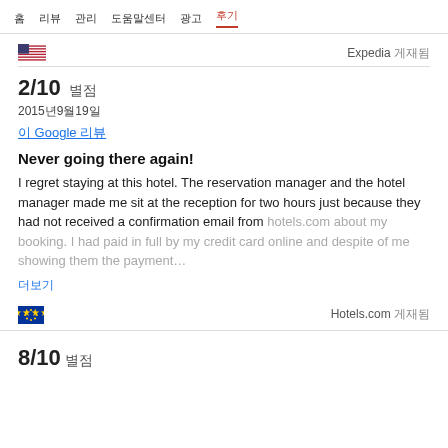홈  리뷰  관리  도움말센터  광고  후기
Expedia 게재됨
2/10 별점
2015년9월19일
이 Google 리뷰
Never going there again!
I regret staying at this hotel. The reservation manager and the hotel manager made me sit at the reception for two hours just because they had not received a confirmation email from hotels.com about my booking. I had paid in full by my credit card online and despite of me showing them the payment…
더보기
Hotels.com 게재됨
8/10 별점